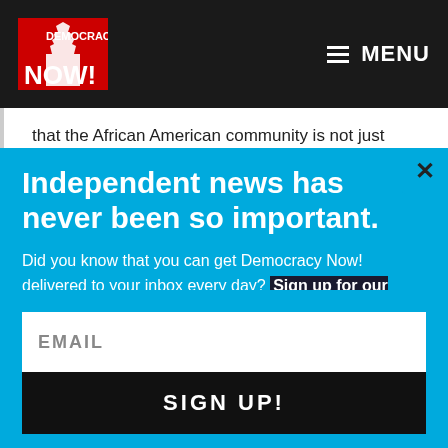Democracy Now! — MENU
that the African American community is not just making this up, and it's not just something being
Independent news has never been so important.
Did you know that you can get Democracy Now! delivered to your inbox every day? Sign up for our Daily News Digest today! Don't worry, we'll never share or sell your information.
EMAIL
SIGN UP!